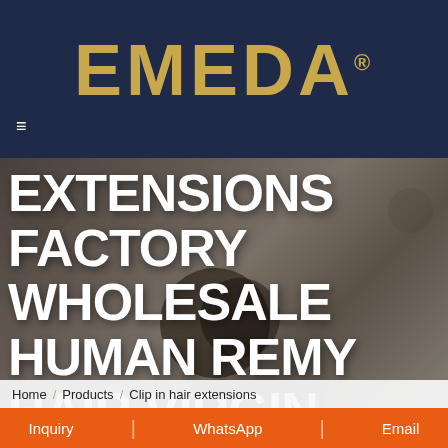[Figure (logo): EMEDA logo in gold/yellow on dark navy background with registered trademark symbol]
EXTENSIONS FACTORY WHOLESALE HUMAN REMY HAIR VIRGIN HAIR
Home / Products / Clip in hair extensions
Inquiry | WhatsApp | Email